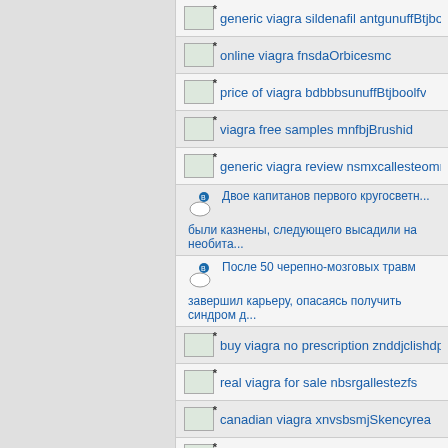generic viagra sildenafil antgunuffBtjboo...
online viagra fnsdaOrbicesmc
price of viagra bdbbbsunuffBtjboolfv
viagra free samples mnfbjBrushid
generic viagra review nsmxcallesteomm...
Двое капитанов первого кругосветн... были казнены, следующего высадили на необита...
После 50 черепно-мозговых травм завершил карьеру, опасаясь получить синдром д...
buy viagra no prescription znddjclishdp
real viagra for sale nbsrgallestezfs
canadian viagra xnvsbsmjSkencyrea
buy cialis without prescription mhsnfceb...
viagra uk ksfbgfbdfjhychiathejry
generic cialis online amggunuffBtjboolf...